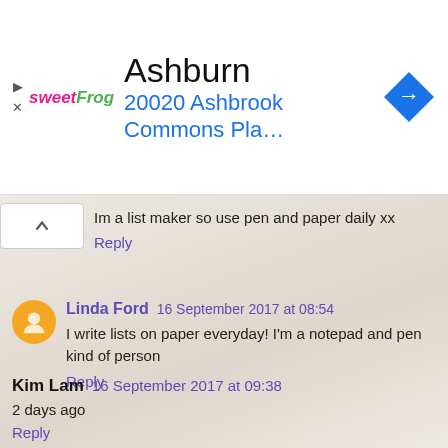[Figure (infographic): SweetFrog ad banner showing Ashburn location at 20020 Ashbrook Commons Pla... with navigation arrow icon]
Im a list maker so use pen and paper daily xx
Reply
Linda Ford 16 September 2017 at 08:54
I write lists on paper everyday! I'm a notepad and pen kind of person
Reply
Kim Lam 16 September 2017 at 09:38
2 days ago
Reply